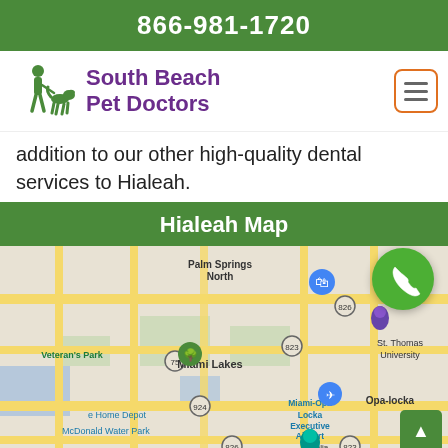866-981-1720
South Beach Pet Doctors
addition to our other high-quality dental services to Hialeah.
Hialeah Map
[Figure (map): Google Map showing the Hialeah, Florida area including Palm Springs North, Miami Lakes, Veteran's Park, St. Thomas University, Miami-Opa Locka Executive Airport, Amelia Earhart Park, Opa-locka, McDonald Water Park, Home Depot. Shows road networks with highways 75, 826, 823, 924.]